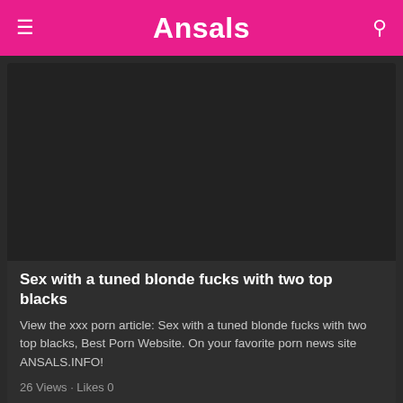Ansals
[Figure (photo): Dark image placeholder for article thumbnail]
Sex with a tuned blonde fucks with two top blacks
View the xxx porn article: Sex with a tuned blonde fucks with two top blacks, Best Porn Website. On your favorite porn news site ANSALS.INFO!
26 Views · Likes 0
[Figure (photo): Second article thumbnail placeholder]